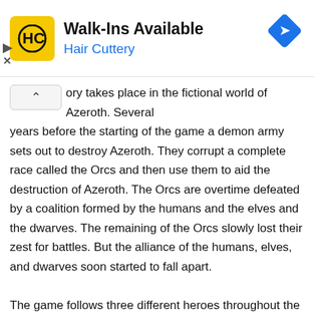[Figure (advertisement): Hair Cuttery advertisement banner with yellow HC logo, 'Walk-Ins Available' heading, 'Hair Cuttery' subtitle in blue, and a blue navigation/directions diamond icon on the right. Triangle play button and X close button on the left side.]
ory takes place in the fictional world of Azeroth. Several years before the starting of the game a demon army sets out to destroy Azeroth. They corrupt a complete race called the Orcs and then use them to aid the destruction of Azeroth. The Orcs are overtime defeated by a coalition formed by the humans and the elves and the dwarves. The remaining of the Orcs slowly lost their zest for battles. But the alliance of the humans, elves, and dwarves soon started to fall apart.

The game follows three different heroes throughout the journey and struggle of salvation on Azeroth. One of the stories follows Human Arthas Menethil as he slowly but steadily becomes corrupt and joins forces with the bad team. The other story is about the Orc Warchief Thrall who leads the